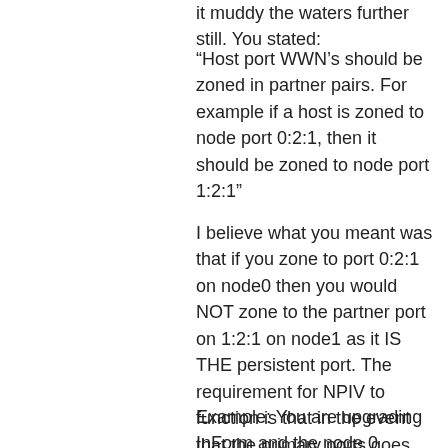it muddy the waters further still. You stated:
“Host port WWN’s should be zoned in partner pairs. For example if a host is zoned to node port 0:2:1, then it should be zoned to node port 1:2:1”
I believe what you meant was that if you zone to port 0:2:1 on node0 then you would NOT zone to the partner port on 1:2:1 on node1 as it IS THE persistent port. The requirement for NPIV to function is that in the event that the primary ports goes dark (0:2:1) the partner port (1:2:1) will function as the WWPN of 0:2:1. This is why they need to be connected to the same physical switch.
Example: You are upgrading InForm and the node 0 reboots: